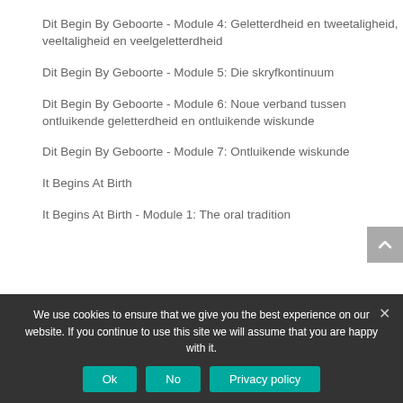Dit Begin By Geboorte - Module 4: Geletterdheid en tweetaligheid, veeltaligheid en veelgeletterdheid
Dit Begin By Geboorte - Module 5: Die skryfkontinuum
Dit Begin By Geboorte - Module 6: Noue verband tussen ontluikende geletterdheid en ontluikende wiskunde
Dit Begin By Geboorte - Module 7: Ontluikende wiskunde
It Begins At Birth
It Begins At Birth - Module 1: The oral tradition
We use cookies to ensure that we give you the best experience on our website. If you continue to use this site we will assume that you are happy with it.